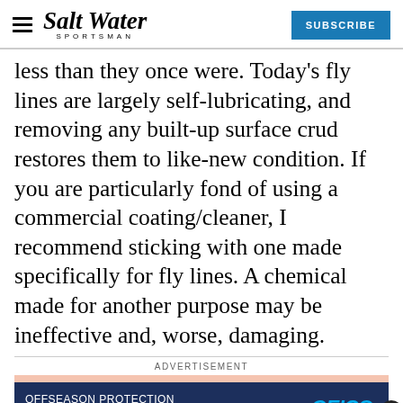Salt Water Sportsman | SUBSCRIBE
less than they once were. Today's fly lines are largely self-lubricating, and removing any built-up surface crud restores them to like-new condition. If you are particularly fond of using a commercial coating/cleaner, I recommend sticking with one made specifically for fly lines. A chemical made for another purpose may be ineffective and, worse, damaging.
ADVERTISEMENT
[Figure (other): GEICO advertisement banner: OFFSEASON PROTECTION FOR YOUR BOAT with boat illustration and GEICO FOR YOUR BOAT logo]